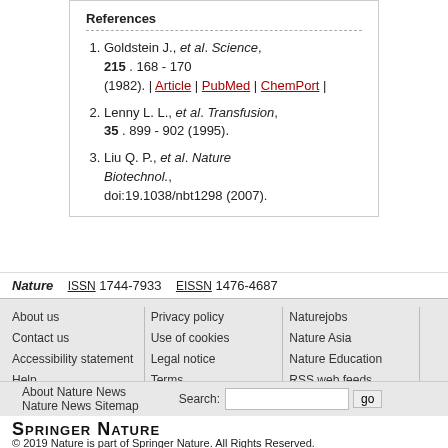References
Goldstein J., et al. Science, 215 . 168 - 170 (1982). | Article | PubMed | ChemPort |
Lenny L. L., et al. Transfusion, 35 . 899 - 902 (1995).
Liu Q. P., et al. Nature Biotechnol., doi:19.1038/nbt1298 (2007).
Nature   ISSN 1744-7933   EISSN 1476-4687
About us
Contact us
Accessibility statement
Help
Privacy policy
Use of cookies
Legal notice
Terms
Naturejobs
Nature Asia
Nature Education
RSS web feeds
About Nature News
Nature News Sitemap
Search:
Springer Nature
© 2019 Nature is part of Springer Nature. All Rights Reserved.
partner of AGORA, HINARI, OARE, INASP, ORCID, CrossRef, COUNTER and COPE